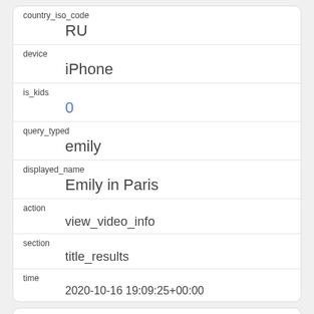| country_iso_code | RU |
| device | iPhone |
| is_kids | 0 |
| query_typed | emily |
| displayed_name | Emily in Paris |
| action | view_video_info |
| section | title_results |
| time | 2020-10-16 19:09:25+00:00 |
| id | 4 |
| created_at |  |